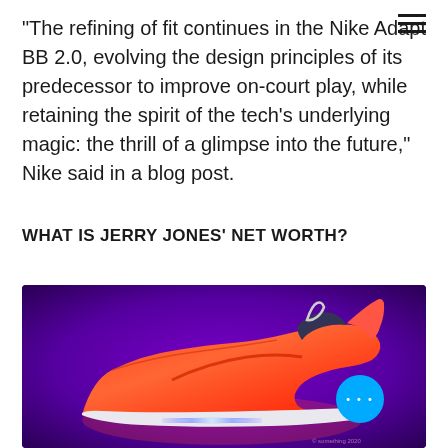“The refining of fit continues in the Nike Adapt BB 2.0, evolving the design principles of its predecessor to improve on-court play, while retaining the spirit of the tech’s underlying magic: the thrill of a glimpse into the future,” Nike said in a blog post.
WHAT IS JERRY JONES’ NET WORTH?
[Figure (photo): A red/orange Nike Adapt BB 2.0 sneaker photographed against a purple gradient background. The shoe features a futuristic design with LED lights on the sole. A blue circular button with three dots appears in the lower right corner of the image.]